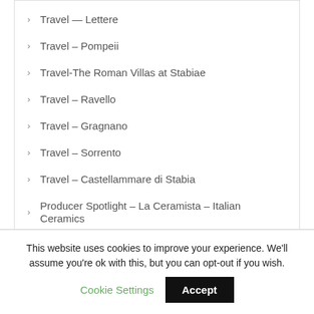Travel — Lettere
Travel – Pompeii
Travel-The Roman Villas at Stabiae
Travel – Ravello
Travel – Gragnano
Travel – Sorrento
Travel – Castellammare di Stabia
Producer Spotlight – La Ceramista – Italian Ceramics
Recipe – Neapolitan Sauce / Ragu
This website uses cookies to improve your experience. We'll assume you're ok with this, but you can opt-out if you wish.
Cookie Settings
Accept